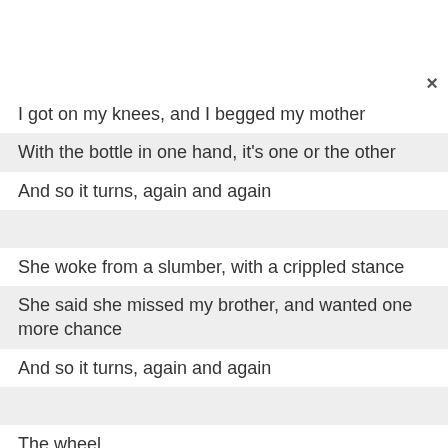I got on my knees, and I begged my mother
With the bottle in one hand, it's one or the other
And so it turns, again and again
She woke from a slumber, with a crippled stance
She said she missed my brother, and wanted one more chance
And so it turns, again and again
The wheel
And so, it turns
And so, it turns